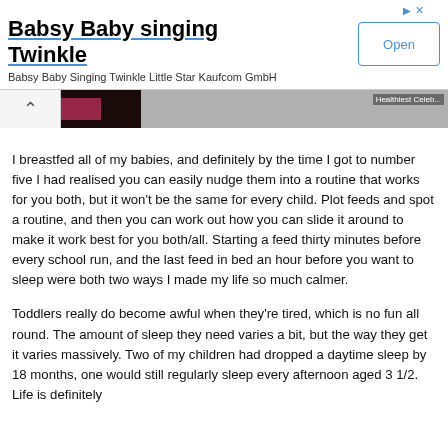[Figure (other): Advertisement banner: 'Babsy Baby singing Twinkle' with Open button and ad icons]
[Figure (screenshot): Thumbnail image strip with chevron back button and dark/pink thumbnail image]
I breastfed all of my babies, and definitely by the time I got to number five I had realised you can easily nudge them into a routine that works for you both, but it won't be the same for every child. Plot feeds and spot a routine, and then you can work out how you can slide it around to make it work best for you both/all. Starting a feed thirty minutes before every school run, and the last feed in bed an hour before you want to sleep were both two ways I made my life so much calmer.
Toddlers really do become awful when they're tired, which is no fun all round. The amount of sleep they need varies a bit, but the way they get it varies massively. Two of my children had dropped a daytime sleep by 18 months, one would still regularly sleep every afternoon aged 3 1/2. Life is definitely